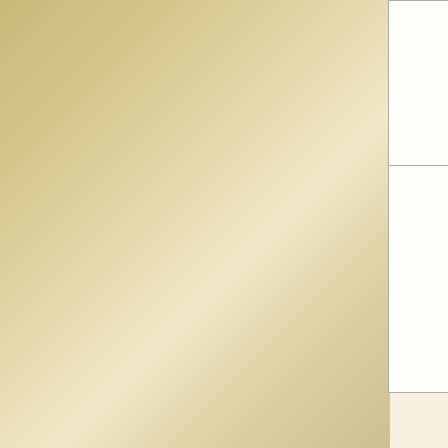| Name/ID | Loot | Gold | Items |
| --- | --- | --- | --- |
| Goblin Skirmisher
0003D798 | Weapon
Shield (25%) | 75 | Rusty [one-handed]
■ Shield [or Iron]
■ 3pts m unarme |
| (note) | Possible opponent in the Arena G matches (at levels 1-5) |  |  |
| Goblin Skirmisher
00068BF6 | Weapon
Shield (50%)
2 Lockpicks (25%) | 75 | ■ Weapo (Iron; Shorts Mace, T Axe, or Dagge
■ Shield (Leathe Steel)
■ 3pts m unarme |
| (note) | Odiil Farm during The Killing Fiel 4-7) |  |  |